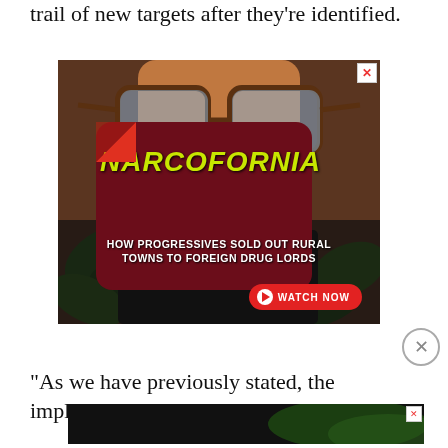trail of new targets after they're identified.
[Figure (screenshot): Advertisement for 'Narcofornia' documentary: person wearing sunglasses with cannabis leaves, dark red card overlay with yellow 'NARCOFORNIA' title, subtitle 'HOW PROGRESSIVES SOLD OUT RURAL TOWNS TO FOREIGN DRUG LORDS', red 'WATCH NOW' button with play icon, close X button in top right corner.]
[Figure (screenshot): Second advertisement banner for 'Narcofornia' with same content: 'HOW PROGRESSIVES SOLD OUT RURAL TOWNS TO FOREIGN DRUG LORDS', 'WATCH NOW' button, and 'NARCOFORNIA' logo on cannabis background. Has a close X button top right.]
“As we have previously stated, the implication that N... unco... ...an said in the Guardian. “NSA's activities...